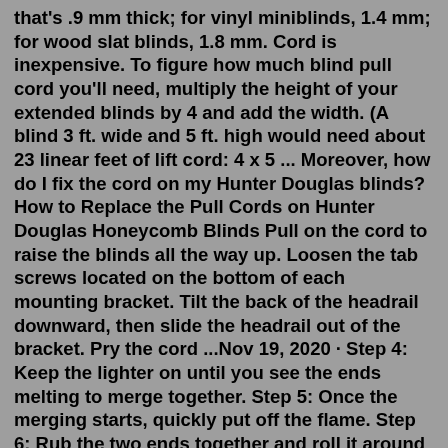that's .9 mm thick; for vinyl miniblinds, 1.4 mm; for wood slat blinds, 1.8 mm. Cord is inexpensive. To figure how much blind pull cord you'll need, multiply the height of your extended blinds by 4 and add the width. (A blind 3 ft. wide and 5 ft. high would need about 23 linear feet of lift cord: 4 x 5 ... Moreover, how do I fix the cord on my Hunter Douglas blinds? How to Replace the Pull Cords on Hunter Douglas Honeycomb Blinds Pull on the cord to raise the blinds all the way up. Loosen the tab screws located on the bottom of each mounting bracket. Tilt the back of the headrail downward, then slide the headrail out of the bracket. Pry the cord ...Nov 19, 2020 · Step 4: Keep the lighter on until you see the ends melting to merge together. Step 5: Once the merging starts, quickly put off the flame. Step 6: Rub the two ends together and roll it around in your fingers. Step 7: Let the cords cool down and give them some experimental pulls. Problem: My Roman shades won't stay up. Step 1: Take a look at the reverse side of the blind. Step 2: If